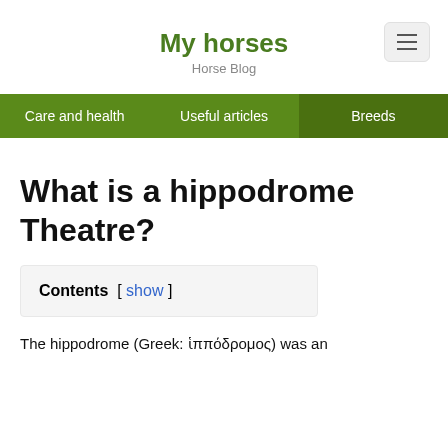My horses
Horse Blog
Care and health | Useful articles | Breeds
What is a hippodrome Theatre?
Contents [ show ]
The hippodrome (Greek: ἱππόδρομος) was an